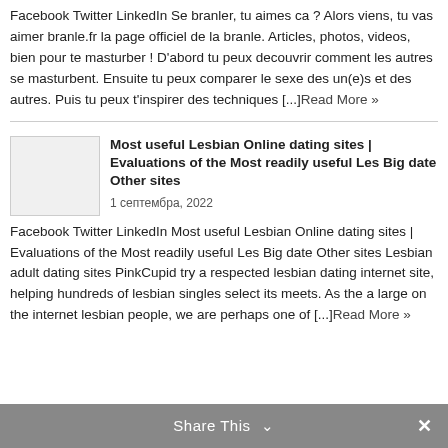Facebook Twitter LinkedIn Se branler, tu aimes ca ? Alors viens, tu vas aimer branle.fr la page officiel de la branle. Articles, photos, videos, bien pour te masturber ! D'abord tu peux decouvrir comment les autres se masturbent. Ensuite tu peux comparer le sexe des un(e)s et des autres. Puis tu peux t'inspirer des techniques [...]Read More »
[Figure (photo): Thumbnail image placeholder for article]
Most useful Lesbian Online dating sites | Evaluations of the Most readily useful Les Big date Other sites
1 септембра, 2022
Facebook Twitter LinkedIn Most useful Lesbian Online dating sites | Evaluations of the Most readily useful Les Big date Other sites Lesbian adult dating sites PinkCupid try a respected lesbian dating internet site, helping hundreds of lesbian singles select its meets. As the a large on the internet lesbian people, we are perhaps one of [...]Read More »
Share This